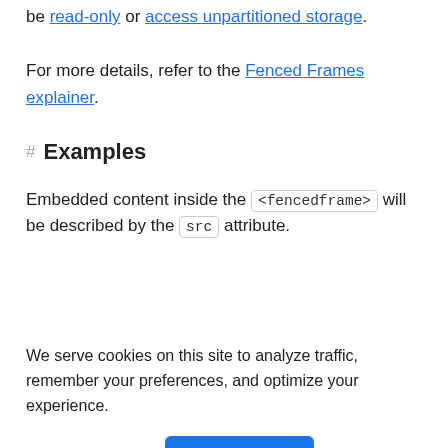be read-only or access unpartitioned storage.
For more details, refer to the Fenced Frames explainer.
Examples
Embedded content inside the <fencedframe> will be described by the src attribute.
We serve cookies on this site to analyze traffic, remember your preferences, and optimize your experience.
More details  Ok, Got it.